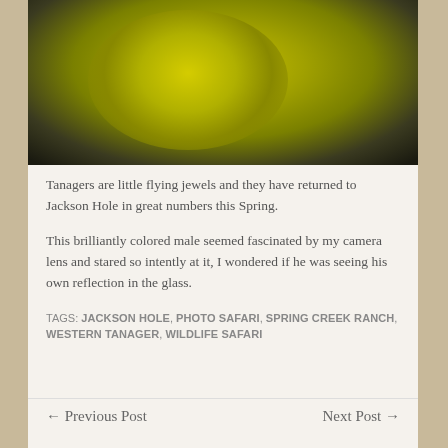[Figure (photo): Close-up photograph of a brilliantly yellow-green Western Tanager bird, showing its rounded head and body against a dark background. The bird's vivid yellow-green plumage fills most of the frame.]
Tanagers are little flying jewels and they have returned to Jackson Hole in great numbers this Spring.
This brilliantly colored male seemed fascinated by my camera lens and stared so intently at it, I wondered if he was seeing his own reflection in the glass.
TAGS: JACKSON HOLE, PHOTO SAFARI, SPRING CREEK RANCH, WESTERN TANAGER, WILDLIFE SAFARI
← Previous Post
Next Post →